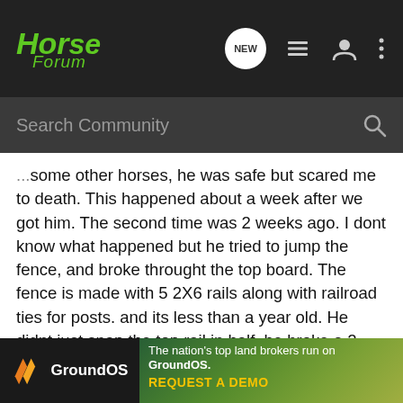Horse Forum
some other horses, he was safe but scared me to death. This happened about a week after we got him. The second time was 2 weeks ago. I dont know what happened but he tried to jump the fence, and broke throught the top board. The fence is made with 5 2X6 rails along with railroad ties for posts. and its less than a year old. He didnt just snap the top rail in half, he broke a 2 foot section right out of the middle. We got a call, since hes not on our property, that the neighbor caught him but then was spooked by snowmobiles and ran off again, and that he had a HUGE cut on his leg. We got there just as the sun was going down, about 4 minutes after we got the call and there were no signs of him. It was one of the first nice days so there were many snowmobiles out that were scaring him. i happened to have bi... back and fort... get him
[Figure (screenshot): GroundOS advertisement banner: logo with orange double-chevron icon and white text 'GroundOS', with text 'The nation's top land brokers run on GroundOS.' and 'REQUEST A DEMO' in yellow, over green aerial farmland background]